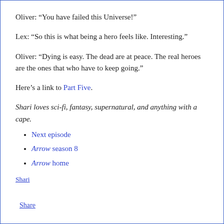Oliver: “You have failed this Universe!”
Lex: “So this is what being a hero feels like. Interesting.”
Oliver: “Dying is easy. The dead are at peace. The real heroes are the ones that who have to keep going.”
Here’s a link to Part Five.
Shari loves sci-fi, fantasy, supernatural, and anything with a cape.
Next episode
Arrow season 8
Arrow home
Shari
Share